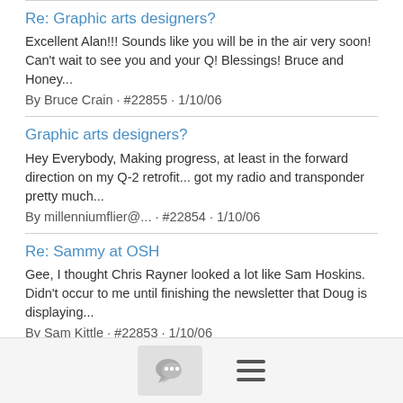Re: Graphic arts designers?
Excellent Alan!!! Sounds like you will be in the air very soon! Can't wait to see you and your Q! Blessings! Bruce and Honey...
By Bruce Crain · #22855 · 1/10/06
Graphic arts designers?
Hey Everybody, Making progress, at least in the forward direction on my Q-2 retrofit... got my radio and transponder pretty much...
By millenniumflier@... · #22854 · 1/10/06
Re: Sammy at OSH
Gee, I thought Chris Rayner looked a lot like Sam Hoskins. Didn't occur to me until finishing the newsletter that Doug is displaying...
By Sam Kittle · #22853 · 1/10/06
Outlanding
Yesterday, a KR-2 pilot landed in jail here in the Puget Sound. William left Olympia for Tacoma on a flight over Puget Sound...
By James Postma <james@...> · #22851 · 1/09/06
[Figure (screenshot): Bottom navigation bar with a chat/comment icon button and a hamburger menu icon]